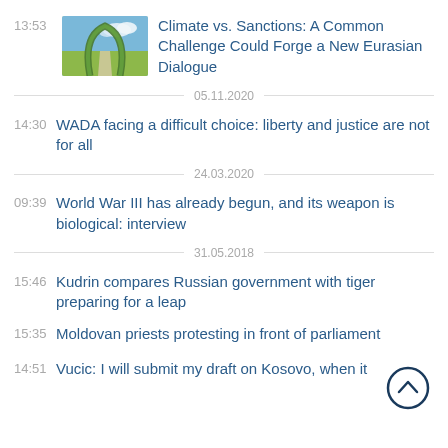13:53 Climate vs. Sanctions: A Common Challenge Could Forge a New Eurasian Dialogue
05.11.2020
14:30 WADA facing a difficult choice: liberty and justice are not for all
24.03.2020
09:39 World War III has already begun, and its weapon is biological: interview
31.05.2018
15:46 Kudrin compares Russian government with tiger preparing for a leap
15:35 Moldovan priests protesting in front of parliament
14:51 Vucic: I will submit my draft on Kosovo, when it